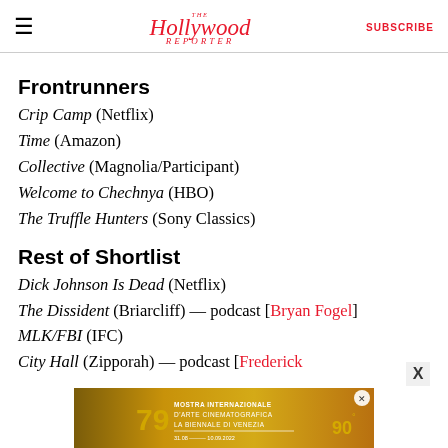The Hollywood Reporter | SUBSCRIBE
Frontrunners
Crip Camp (Netflix)
Time (Amazon)
Collective (Magnolia/Participant)
Welcome to Chechnya (HBO)
The Truffle Hunters (Sony Classics)
Rest of Shortlist
Dick Johnson Is Dead (Netflix)
The Dissident (Briarcliff) — podcast [Bryan Fogel]
MLK/FBI (IFC)
City Hall (Zipporah) — podcast [Frederick
[Figure (other): Advertisement banner for Mostra Internazionale d'Arte Cinematografica La Biennale di Venezia 79, with golden decorative imagery]